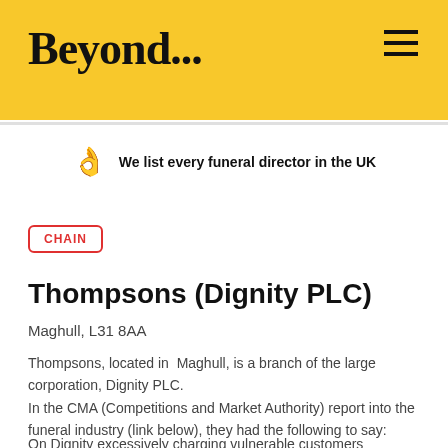Beyond...
We list every funeral director in the UK
CHAIN
Thompsons (Dignity PLC)
Maghull, L31 8AA
Thompsons, located in Maghull, is a branch of the large corporation, Dignity PLC.
In the CMA (Competitions and Market Authority) report into the funeral industry (link below), they had the following to say:
On Dignity excessively charging vulnerable customers